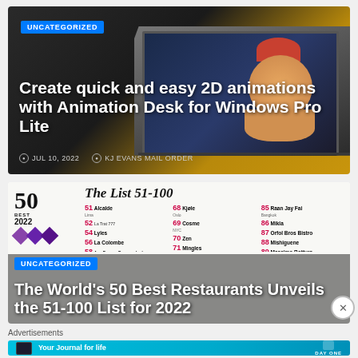[Figure (screenshot): Article card with laptop showing 2D animation software, cartoon character with orange hat on screen, dark and golden background]
UNCATEGORIZED
Create quick and easy 2D animations with Animation Desk for Windows Pro Lite
JUL 10, 2022   KJ EVANS MAIL ORDER
[Figure (screenshot): Article card for The World's 50 Best Restaurants list 51-100 for 2022, showing numbered restaurant list]
UNCATEGORIZED
The World's 50 Best Restaurants Unveils the 51-100 List for 2022
Advertisements
[Figure (other): Day One app advertisement banner - Your Journal for life]